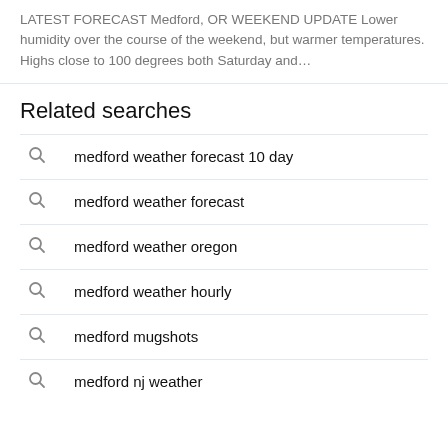LATEST FORECAST Medford, OR WEEKEND UPDATE Lower humidity over the course of the weekend, but warmer temperatures. Highs close to 100 degrees both Saturday and…
Related searches
medford weather forecast 10 day
medford weather forecast
medford weather oregon
medford weather hourly
medford mugshots
medford nj weather